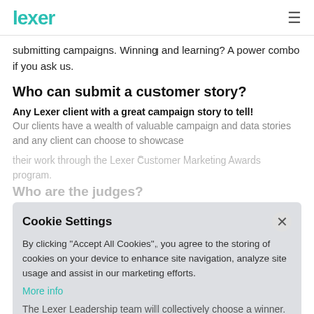Lexer
submitting campaigns. Winning and learning? A power combo if you ask us.
Who can submit a customer story?
Any Lexer client with a great campaign story to tell! Our clients have a wealth of valuable campaign and data stories and any client can choose to showcase their work through the Lexer Customer Marketing Awards program.
Who are the judges?
Cookie Settings
By clicking "Accept All Cookies", you agree to the storing of cookies on your device to enhance site navigation, analyze site usage and assist in our marketing efforts.
More info
The Lexer Leadership team will collectively choose a winner.
What are the categories?
1. Prospecting/Lead Generation